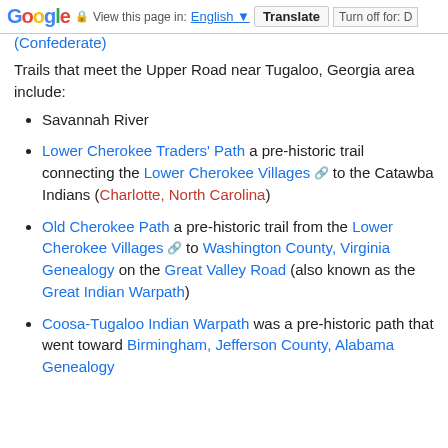Google | View this page in: English | Translate | Turn off for: D
(Confederate)
Trails that meet the Upper Road near Tugaloo, Georgia area include:
Savannah River
Lower Cherokee Traders' Path a pre-historic trail connecting the Lower Cherokee Villages [ext] to the Catawba Indians (Charlotte, North Carolina)
Old Cherokee Path a pre-historic trail from the Lower Cherokee Villages [ext] to Washington County, Virginia Genealogy on the Great Valley Road (also known as the Great Indian Warpath)
Coosa-Tugaloo Indian Warpath was a pre-historic path that went toward Birmingham, Jefferson County, Alabama Genealogy